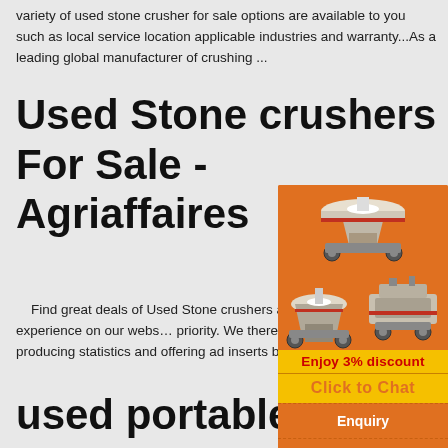variety of used stone crusher for sale options are available to you such as local service location applicable industries and warranty...As a leading global manufacturer of crushing ...
Used Stone crushers For Sale - Agriaffaires
Find great deals of Used Stone crushers amongst 40 ads by private parties and dealers at Agriaffaires UK. Your experience on our website is our priority. We therefore use cookies, as we legit... have our hearts set on improving user experience, producing statistics and offering ad inserts based on your areas of interest, including ...
[Figure (infographic): Orange advertisement widget for stone crushing machines showing images of crushers, 'Enjoy 3% discount', 'Click to Chat', 'Enquiry', and 'limingjlmofen@sina.com']
used portable stone